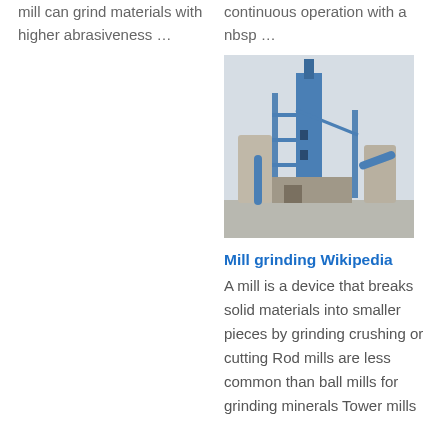mill can grind materials with higher abrasiveness …
continuous operation with a nbsp …
[Figure (photo): Industrial grinding mill tower structure with blue metal framework, silos, and conveyor belts at an industrial facility.]
Mill grinding Wikipedia
A mill is a device that breaks solid materials into smaller pieces by grinding crushing or cutting Rod mills are less common than ball mills for grinding minerals Tower mills